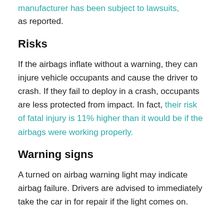manufacturer has been subject to lawsuits, as reported.
Risks
If the airbags inflate without a warning, they can injure vehicle occupants and cause the driver to crash. If they fail to deploy in a crash, occupants are less protected from impact. In fact, their risk of fatal injury is 11% higher than it would be if the airbags were working properly.
Warning signs
A turned on airbag warning light may indicate airbag failure. Drivers are advised to immediately take the car in for repair if the light comes on.